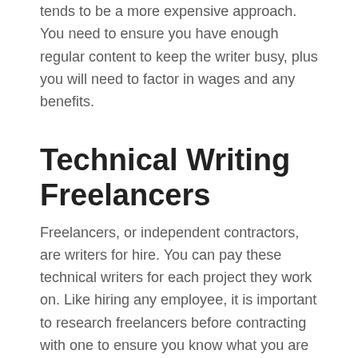tends to be a more expensive approach. You need to ensure you have enough regular content to keep the writer busy, plus you will need to factor in wages and any benefits.
Technical Writing Freelancers
Freelancers, or independent contractors, are writers for hire. You can pay these technical writers for each project they work on. Like hiring any employee, it is important to research freelancers before contracting with one to ensure you know what you are getting. You should expect to pay a higher price for more experienced writing professionals. While you